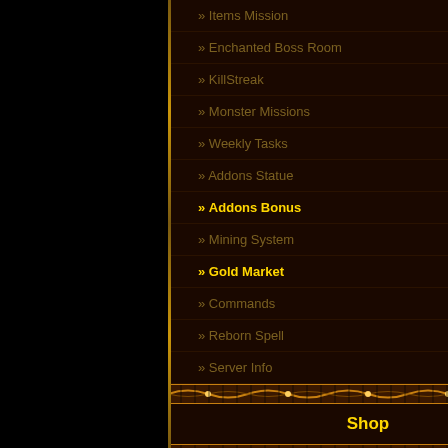» Items Mission
» Enchanted Boss Room
» KillStreak
» Monster Missions
» Weekly Tasks
» Addons Statue
» Addons Bonus
» Mining System
» Gold Market
» Commands
» Reborn Spell
» Server Info
Shop
» Shop offer
» Buy points
» Last Purchased